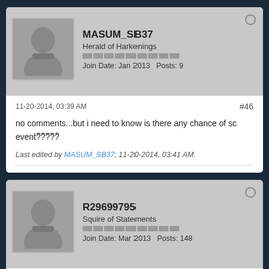MASUM_SB37
Herald of Harkenings
Join Date: Jan 2013   Posts: 9
11-20-2014, 03:39 AM
#46
no comments...but i need to know is there any chance of sc event?????
Last edited by MASUM_SB37; 11-20-2014, 03:41 AM.
R29699795
Squire of Statements
Join Date: Mar 2013   Posts: 148
11-20-2014, 03:43 AM
#47
who know what happened with undergroud palace, why it was removed and when come back?